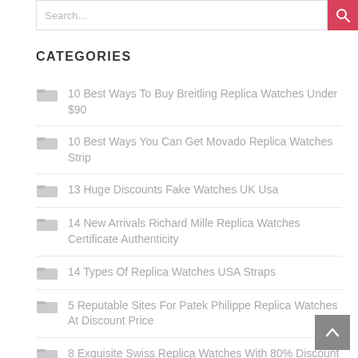CATEGORIES
10 Best Ways To Buy Breitling Replica Watches Under $90
10 Best Ways You Can Get Movado Replica Watches Strip
13 Huge Discounts Fake Watches UK Usa
14 New Arrivals Richard Mille Replica Watches Certificate Authenticity
14 Types Of Replica Watches USA Straps
5 Reputable Sites For Patek Philippe Replica Watches At Discount Price
8 Exquisite Swiss Replica Watches With 80% Discount